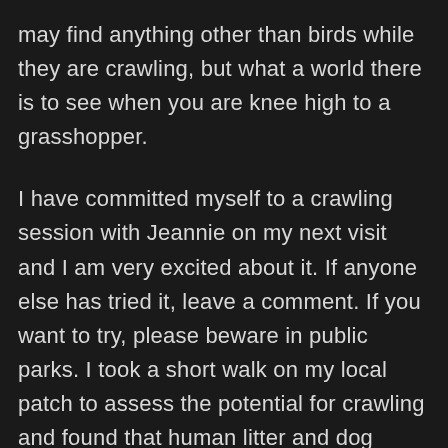may find anything other than birds while they are crawling, but what a world there is to see when you are knee high to a grasshopper.
I have committed myself to a crawling session with Jeannie on my next visit and I am very excited about it. If anyone else has tried it, leave a comment. If you want to try, please beware in public parks. I took a short walk on my local patch to assess the potential for crawling and found that human litter and dog faeces were probably the